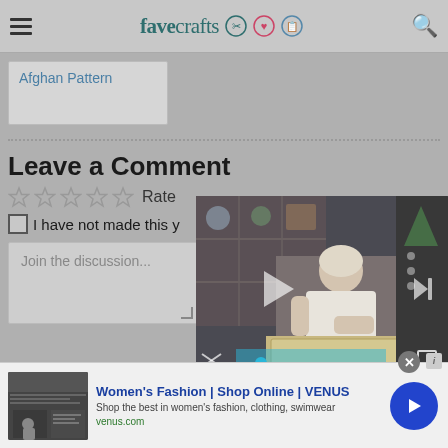favecrafts
Afghan Pattern
Leave a Comment
☆ ☆ ☆ ☆ ☆ Rate
I have not made this y
Join the discussion...
[Figure (screenshot): Embedded video player showing a woman at a crafting table with a bookshelf background, with play and next buttons and progress bar]
Women's Fashion | Shop Online | VENUS
Shop the best in women's fashion, clothing, swimwear
venus.com